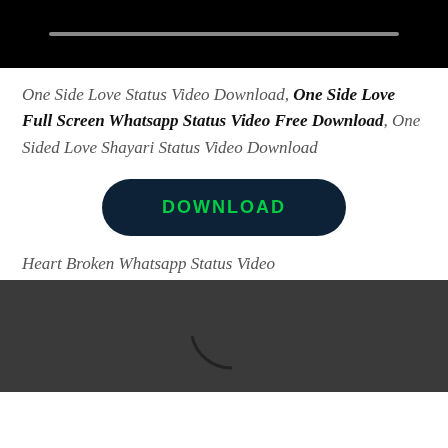[Figure (screenshot): Video player with black background and grey progress bar at top of page]
One Side Love Status Video Download, One Side Love Full Screen Whatsapp Status Video Free Download, One Sided Love Shayari Status Video Download
[Figure (other): Dark navy rounded rectangle DOWNLOAD button with bright green bold uppercase text]
Heart Broken Whatsapp Status Video
[Figure (screenshot): Dark grey video player thumbnail with partial circular arc/play icon visible at bottom]